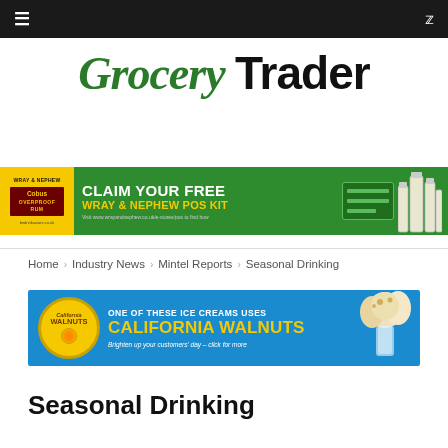≡  🐦
[Figure (logo): Grocery Trader logo — italic serif green 'Grocery' and bold black sans-serif 'Trader']
[Figure (infographic): Wray & Nephew green banner ad: CLAIM YOUR FREE WRAY & NEPHEW POS KIT. Visit www.wrayandnephew.co.uk/e-stores/pos to find how. bedrinkaware.co.uk]
Home › Industry News › Mintel Reports › Seasonal Drinking
[Figure (infographic): California Walnuts blue banner ad: ONE OF THESE ICE CREAMS USES CALIFORNIA WALNUTS. Brighten up your customers' day – click for more]
Seasonal Drinking